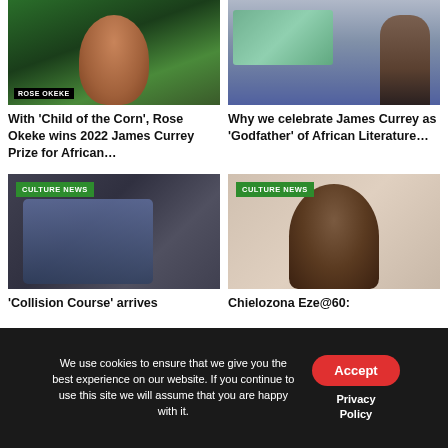[Figure (photo): Photo of Rose Okeke with name tag overlay on green background]
[Figure (photo): Photo of James Currey at podium with presentation screen in background]
With 'Child of the Corn', Rose Okeke wins 2022 James Currey Prize for African…
Why we celebrate James Currey as 'Godfather' of African Literature…
[Figure (photo): Culture News photo showing two people, Collision Course]
[Figure (photo): Culture News photo of Chielozona Eze close-up portrait]
'Collision Course' arrives
Chielozona Eze@60:
We use cookies to ensure that we give you the best experience on our website. If you continue to use this site we will assume that you are happy with it.
Accept
Privacy Policy